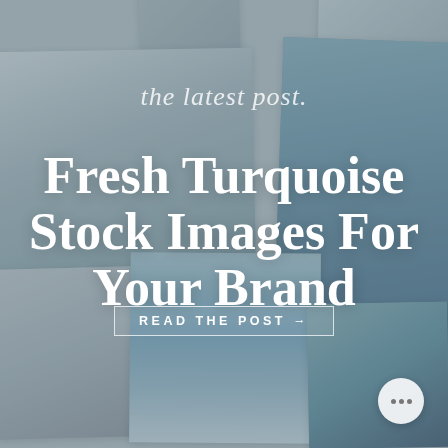[Figure (photo): A collage of turquoise and blue-toned stock photos including a person in a white top writing in a notebook, a blue-gray agave/succulent plant, a coastal Mediterranean scene with a white boat and rocky island, a gray product (possibly a candle or cream jar), and a teal-colored product. Photos are arranged as overlapping polaroid-style tiles on a muted blue-gray background.]
the latest post.
Fresh Turquoise Stock Images For Your Brand
READ THE POST →